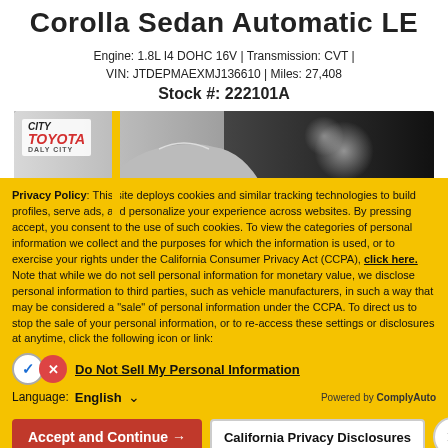Corolla Sedan Automatic LE
Engine: 1.8L I4 DOHC 16V | Transmission: CVT | VIN: JTDEPMAEXMJ136610 | Miles: 27,408
Stock #: 222101A
[Figure (photo): Dealership banner image showing a Toyota Corolla sedan in a showroom setting with City Toyota Daly City logo and people in background]
Privacy Policy: This site deploys cookies and similar tracking technologies to build profiles, serve ads, and personalize your experience across websites. By pressing accept, you consent to the use of such cookies. To view the categories of personal information we collect and the purposes for which the information is used, or to exercise your rights under the California Consumer Privacy Act (CCPA), click here. Note that while we do not sell personal information for monetary value, we disclose personal information to third parties, such as vehicle manufacturers, in such a way that may be considered a "sale" of personal information under the CCPA. To direct us to stop the sale of your personal information, or to re-access these settings or disclosures at anytime, click the following icon or link:
Do Not Sell My Personal Information
Language: English
Powered by ComplyAuto
Accept and Continue → | California Privacy Disclosures | ×